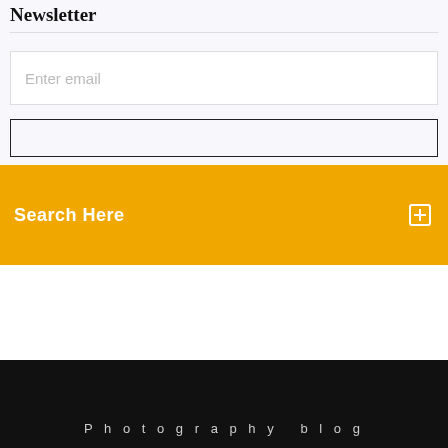Newsletter
[Figure (screenshot): Email input field with placeholder text 'Enter email' on a light lavender background]
[Figure (screenshot): Search bar with orange/amber background overlay showing 'Search Here' text in white with a search icon on the right]
Photography blog